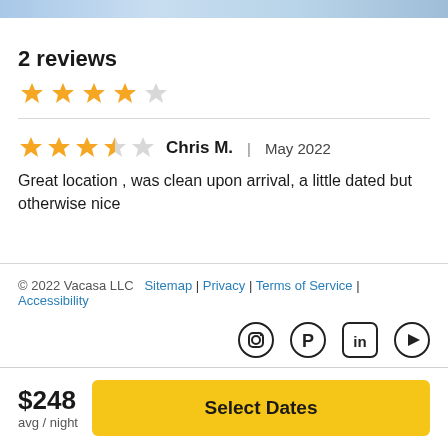2 reviews
[Figure (other): 4 out of 5 stars overall rating — four filled gold stars, one empty star]
Chris M.  |  May 2022
[Figure (other): 3.5 out of 5 stars review rating — 3 filled gold stars, one half star, one empty star]
Great location , was clean upon arrival, a little dated but otherwise nice
© 2022 Vacasa LLC  Sitemap | Privacy | Terms of Service | Accessibility
$248 avg / night
Select Dates